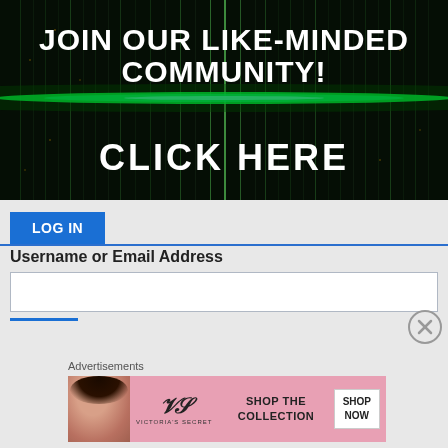[Figure (illustration): Dark green matrix-style background with glowing green horizontal light beam in the center. White bold text reads 'JOIN OUR LIKE-MINDED COMMUNITY!' at top and 'CLICK HERE' at bottom.]
LOG IN
Username or Email Address
[Figure (screenshot): Close button (X in circle) on the right side]
Advertisements
[Figure (illustration): Victoria's Secret advertisement banner with pink background, model on left, VS logo, text 'SHOP THE COLLECTION' and white 'SHOP NOW' button]